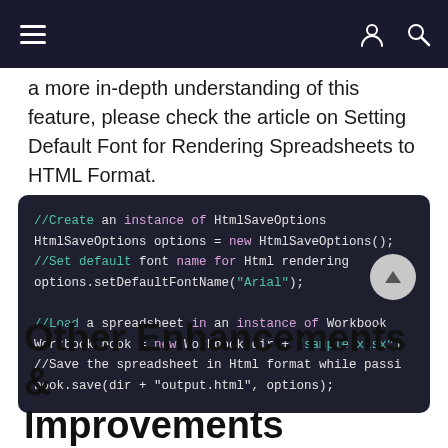navigation bar with hamburger menu and account/search icons
a more in-depth understanding of this feature, please check the article on Setting Default Font for Rendering Spreadsheets to HTML Format.
[Figure (screenshot): Code block on dark background showing Java code: //Create an instance of HtmlSaveOptions, HtmlSaveOptions options = new HtmlSaveOptions(); //Set default font name for Html rendering, options.setDefaultFontName("Arial"); //Load a spreadsheet in an instance of Workbook, Workbook book = new Workbook(dir + "sample.xlsx"); //Save the spreadsheet in Html format while passing options, book.save(dir + "output.html", options);]
Other Enhancements & Improvements